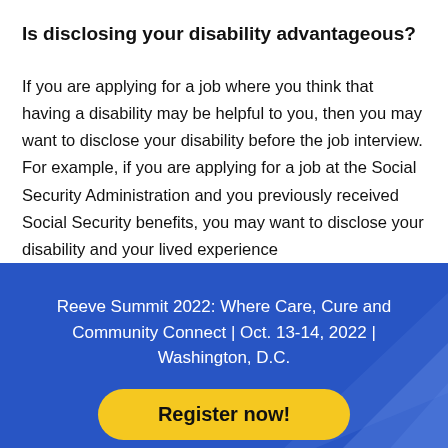Is disclosing your disability advantageous?
If you are applying for a job where you think that having a disability may be helpful to you, then you may want to disclose your disability before the job interview. For example, if you are applying for a job at the Social Security Administration and you previously received Social Security benefits, you may want to disclose your disability and your lived experience
Reeve Summit 2022: Where Care, Cure and Community Connect | Oct. 13-14, 2022 | Washington, D.C.
Register now!